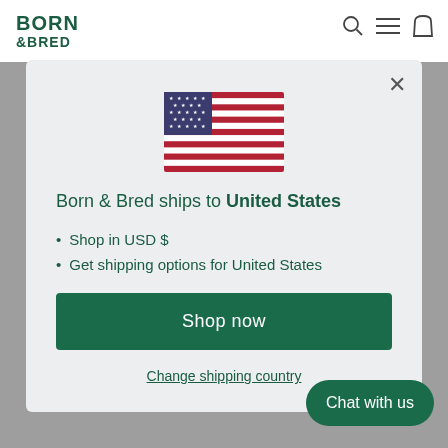[Figure (screenshot): Born & Bred website header with logo and navigation icons (search, menu, cart) on white background]
[Figure (illustration): US flag emoji/icon centered above modal heading]
Born & Bred ships to United States
Shop in USD $
Get shipping options for United States
Shop now
Change shipping country
Chat with us
[Figure (logo): Born & Bred logo in large dark green text at page bottom]